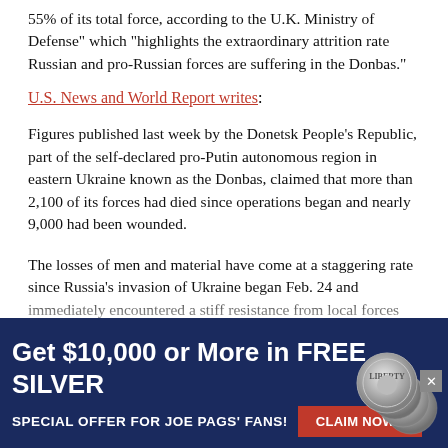55% of its total force, according to the U.K. Ministry of Defense" which "highlights the extraordinary attrition rate Russian and pro-Russian forces are suffering in the Donbas."
U.S. News and World Report writes:
Figures published last week by the Donetsk People’s Republic, part of the self-declared pro-Putin autonomous region in eastern Ukraine known as the Donbas, claimed that more than 2,100 of its forces had died since operations began and nearly 9,000 had been wounded.
The losses of men and material have come at a staggering rate since Russia’s invasion of Ukraine began Feb. 24 and immediately encountered a stiff resistance from local forces backed with Western ammunition and financial resources
[Figure (screenshot): Advertisement banner: 'Get $10,000 or More in FREE SILVER - SPECIAL OFFER FOR JOE PAGS' FANS! CLAIM NOW >' with coin imagery on dark navy background]